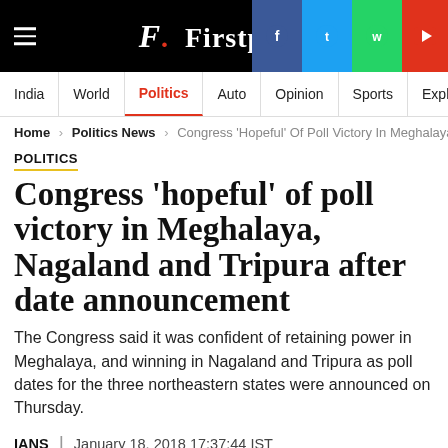Firstpost | India | World | Politics | Auto | Opinion | Sports | Explainers
Home > Politics News > Congress 'Hopeful' Of Poll Victory In Meghalaya, Nag
POLITICS
Congress 'hopeful' of poll victory in Meghalaya, Nagaland and Tripura after date announcement
The Congress said it was confident of retaining power in Meghalaya, and winning in Nagaland and Tripura as poll dates for the three northeastern states were announced on Thursday.
IANS | January 18, 2018 17:37:44 IST